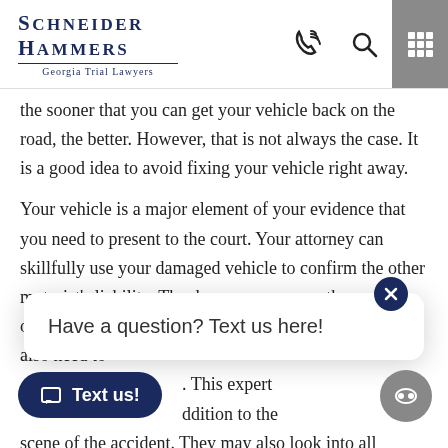Schneider Hammers — Georgia Trial Lawyers
the sooner that you can get your vehicle back on the road, the better. However, that is not always the case. It is a good idea to avoid fixing your vehicle right away.
Your vehicle is a major element of your evidence that you need to present to the court. Your attorney can skillfully use your damaged vehicle to confirm the other motorist's liability. The damage can prove the severity of the accident. Keep in mind that your attorney will also need to . This expert ddition to the scene of the accident. They may also look into all other le evidence. This does not mean that your vehicle will never recover. In fact, waiting too long to have those repairs done could backfire. It may look
Have a question? Text us here!